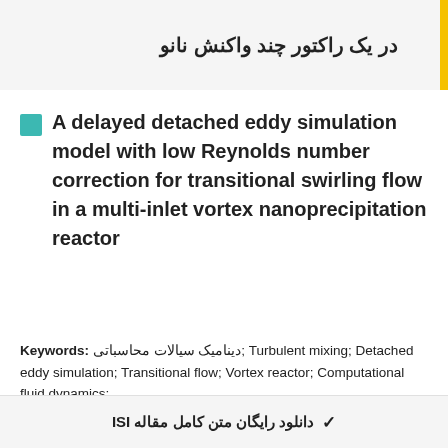در یک راکتور چند واکنش نانو
A delayed detached eddy simulation model with low Reynolds number correction for transitional swirling flow in a multi-inlet vortex nanoprecipitation reactor
Keywords: دینامیک سیالات محاسباتی; Turbulent mixing; Detached eddy simulation; Transitional flow; Vortex reactor; Computational fluid dynamics;
دانلود رایگان متن کامل مقاله ISI